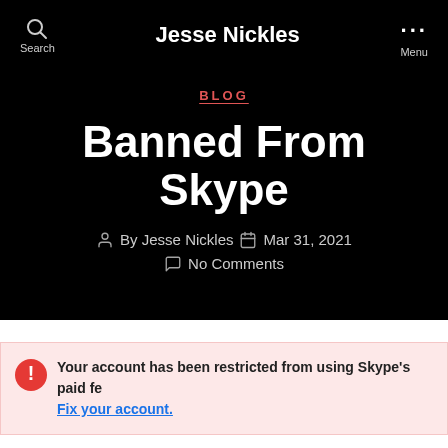Jesse Nickles
BLOG
Banned From Skype
By Jesse Nickles   Mar 31, 2021   No Comments
Your account has been restricted from using Skype's paid fe Fix your account.